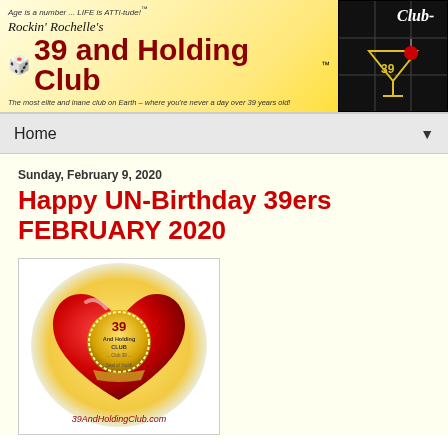[Figure (logo): Rockin' Rochelle's 39 and Holding Club banner with yellow gradient background, dice icon, red and black text, and cocktail glass graphic on black grid on the right side]
Home ▼
Sunday, February 9, 2020
Happy UN-Birthday 39ers FEBRUARY 2020
[Figure (logo): 39 and Holding Club logo: a red heart with a gold medallion reading '39 And Holding Club — Club 39 — Seal of Youth', on a golden circular background, with text '39AndHoldingClub.com' at the bottom]